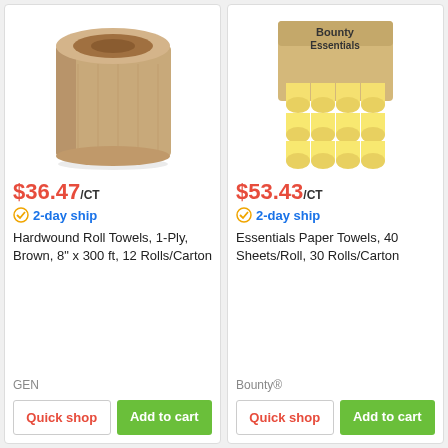[Figure (photo): Brown hardwound paper towel roll, large industrial size]
$36.47/CT
2-day ship
Hardwound Roll Towels, 1-Ply, Brown, 8" x 300 ft, 12 Rolls/Carton
GEN
Quick shop
Add to cart
[Figure (photo): Bounty Essentials paper towels box with multiple rolls, 30 rolls/carton]
$53.43/CT
2-day ship
Essentials Paper Towels, 40 Sheets/Roll, 30 Rolls/Carton
Bounty®
Quick shop
Add to cart
[Figure (photo): White paper towel roll, partial view at bottom]
[Figure (photo): Brown/tan hardwound paper towel roll, partial view at bottom]